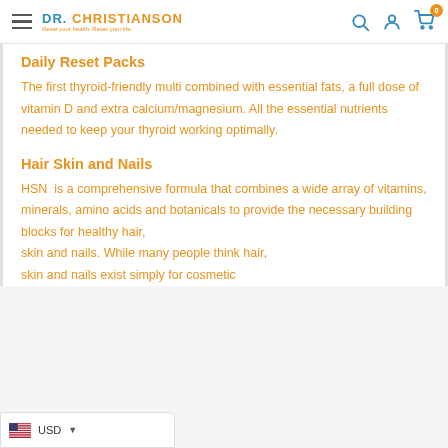DR. CHRISTIANSON — Reset your health. Reset your life.
Daily Reset Packs
The first thyroid-friendly multi combined with essential fats, a full dose of vitamin D and extra calcium/magnesium. All the essential nutrients needed to keep your thyroid working optimally.
Hair Skin and Nails
HSN  is a comprehensive formula that combines a wide array of vitamins, minerals, amino acids and botanicals to provide the necessary building blocks for healthy hair, skin and nails. While many people think hair, skin and nails exist simply for cosmetic